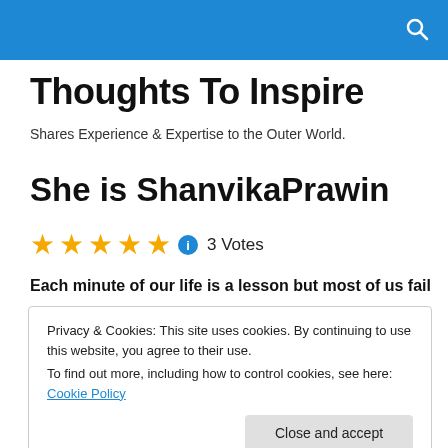Thoughts To Inspire
Shares Experience & Expertise to the Outer World.
She is ShanvikaPrawin
★★★★★ ℹ 3 Votes
Each minute of our life is a lesson but most of us fail
Privacy & Cookies: This site uses cookies. By continuing to use this website, you agree to their use.
To find out more, including how to control cookies, see here: Cookie Policy
Father means so many things. An understanding heart, a